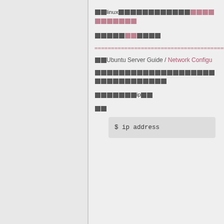□□linux□□□□□□□□□□□□□□□□□□□□□□□□□□□□□
□□□□□□□□□□□
================================================
□□Ubuntu Server Guide / Network Configu...
□□□□□□□□□□□□□□□□□□□□□□□□□□□□□□□□□□
□□□□□□□□ip□□
□□
$ ip address